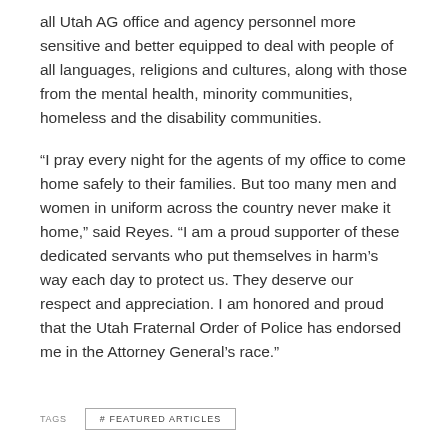all Utah AG office and agency personnel more sensitive and better equipped to deal with people of all languages, religions and cultures, along with those from the mental health, minority communities, homeless and the disability communities.
“I pray every night for the agents of my office to come home safely to their families. But too many men and women in uniform across the country never make it home,” said Reyes. “I am a proud supporter of these dedicated servants who put themselves in harm’s way each day to protect us. They deserve our respect and appreciation. I am honored and proud that the Utah Fraternal Order of Police has endorsed me in the Attorney General’s race.”
TAGS  # FEATURED ARTICLES